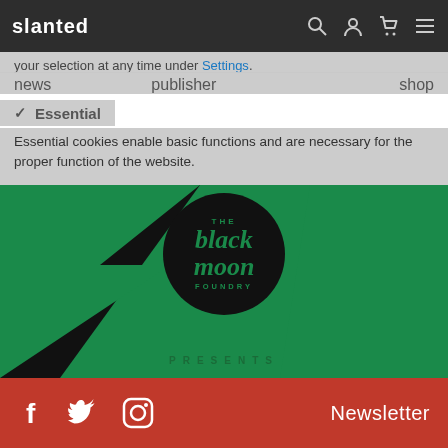slanted — navigation bar with search, account, cart, menu icons
your selection at any time under Settings.
Essential
news   publisher   shop
Essential cookies enable basic functions and are necessary for the proper function of the website.
[Figure (logo): The Black Moon Foundry logo on green and black lightning bolt background with PRESENTS text below]
Social icons (Facebook, Twitter, Instagram) and Newsletter link on red background